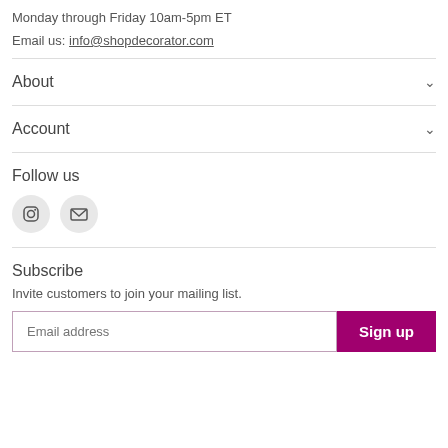Monday through Friday 10am-5pm ET
Email us: info@shopdecorator.com
About
Account
Follow us
[Figure (other): Two circular social media icon buttons: Instagram camera icon and email/envelope icon]
Subscribe
Invite customers to join your mailing list.
Email address [input field] Sign up [button]